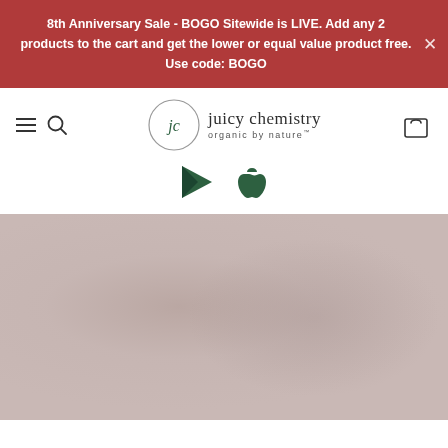8th Anniversary Sale - BOGO Sitewide is LIVE. Add any 2 products to the cart and get the lower or equal value product free. Use code: BOGO
[Figure (logo): Juicy Chemistry logo - circular logo with 'jc' initials and text 'juicy chemistry organic by nature']
[Figure (logo): Google Play Store icon (dark green triangle play button)]
[Figure (logo): Apple App Store icon (dark green apple with bite)]
[Figure (photo): Hero image background in muted rose/mauve color (c9b8b5), appears to be a blurred/faded product or lifestyle image]